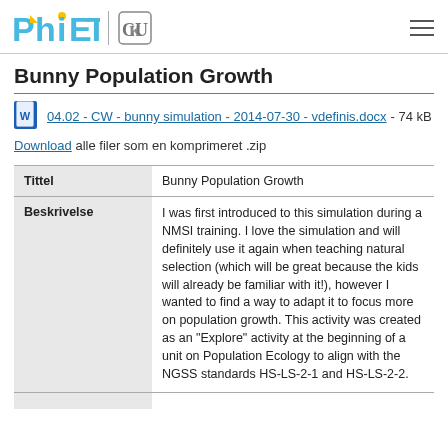PhET | University of Colorado logo
Bunny Population Growth
04.02 - CW - bunny simulation - 2014-07-30 - vdefinis.docx - 74 kB
Download alle filer som en komprimeret .zip
| Tittel | Beskrivelse |
| --- | --- |
| Tittel | Bunny Population Growth |
| Beskrivelse | I was first introduced to this simulation during a NMSI training. I love the simulation and will definitely use it again when teaching natural selection (which will be great because the kids will already be familiar with it!), however I wanted to find a way to adapt it to focus more on population growth. This activity was created as an "Explore" activity at the beginning of a unit on Population Ecology to align with the NGSS standards HS-LS-2-1 and HS-LS-2-2. |